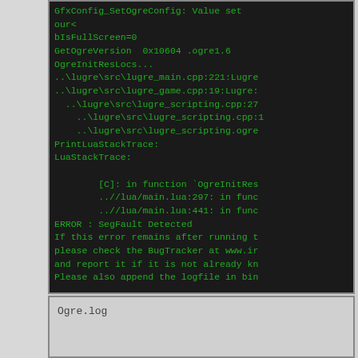GfxConfig_SetOgreConfig: Value set
our<
bIsFullScreen=0
GetOgreVersion  0x10604 .ogre1.6
OgreInitResLocs...
..\lugre\src\lugre_main.cpp:221:Lugre
..\lugre\src\lugre_game.cpp:19:Lugre:
  ..\lugre\src\lugre_scripting.cpp:27
    ..\lugre\src\lugre_scripting.cpp:1
    ..\lugre\src\lugre_scripting.ogre
PrintLuaStackTrace:
LuaStackTrace:

        [C]: in function `OgreInitRes
        ..//lua/main.lua:297: in func
        ..//lua/main.lua:441: in func
ERROR : SegFault Detected
If this error remains after running t
please check the BugTracker at www.ir
and report it if it is not already kn
Please also append the logfile in bin
Ogre.log